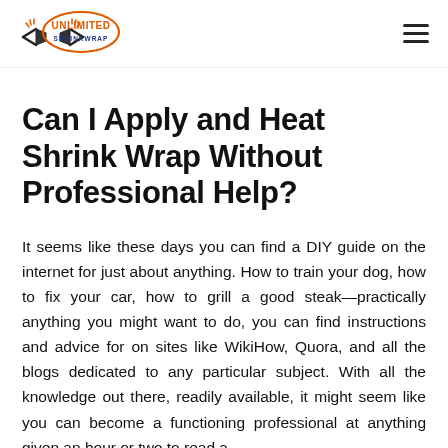Unlimited Shrinkwrap logo and navigation menu
Can I Apply and Heat Shrink Wrap Without Professional Help?
It seems like these days you can find a DIY guide on the internet for just about anything. How to train your dog, how to fix your car, how to grill a good steak—practically anything you might want to do, you can find instructions and advice for on sites like WikiHow, Quora, and all the blogs dedicated to any particular subject. With all the knowledge out there, readily available, it might seem like you can become a functioning professional at anything given an hour or two to read a